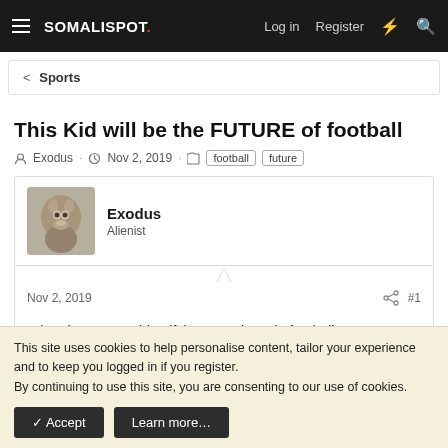SOMALISPOT. Log in Register
< Sports
This Kid will be the FUTURE of football
Exodus · Nov 2, 2019 · football future
[Figure (photo): Avatar photo of a camel/animal close-up]
Exodus
Alienist
Nov 2, 2019  #1
When it comes to identifying top talents in football, I ALWAYS
This site uses cookies to help personalise content, tailor your experience and to keep you logged in if you register.
By continuing to use this site, you are consenting to our use of cookies.
✓ Accept   Learn more…